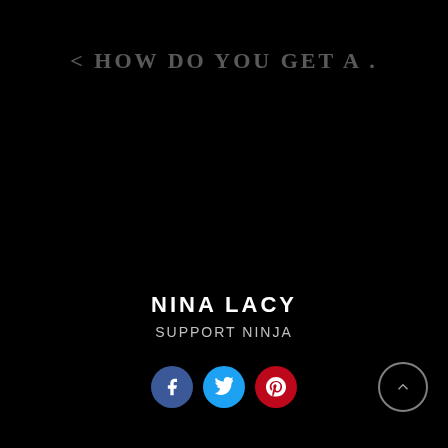< HOW DO YOU GET A .
NINA LACY
SUPPORT NINJA
[Figure (illustration): Dark black background with author profile section. Three social media icon circles (Facebook blue, Twitter light blue, Pinterest red) and a scroll-to-top circle button with chevron arrow on the right.]